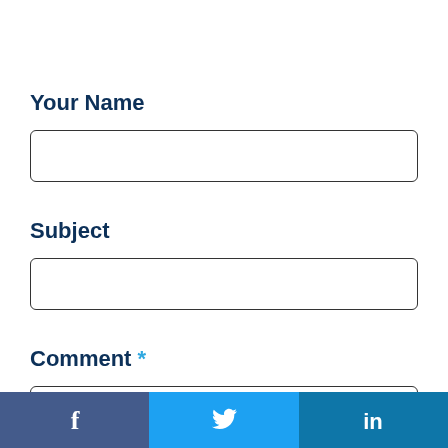Your Name
[Figure (other): Empty text input field for Your Name]
Subject
[Figure (other): Empty text input field for Subject]
Comment *
[Figure (other): Partial text input field for Comment]
[Figure (other): Social media bar with Facebook, Twitter, and LinkedIn icons]